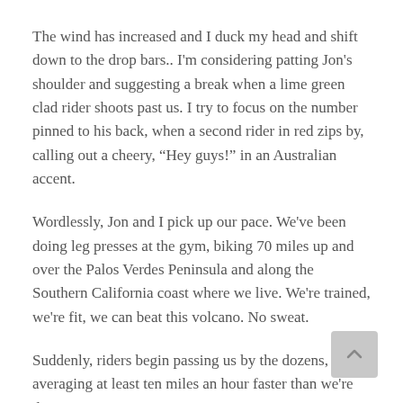The wind has increased and I duck my head and shift down to the drop bars.. I'm considering patting Jon's shoulder and suggesting a break when a lime green clad rider shoots past us. I try to focus on the number pinned to his back, when a second rider in red zips by, calling out a cheery, “Hey guys!” in an Australian accent.
Wordlessly, Jon and I pick up our pace. We've been doing leg presses at the gym, biking 70 miles up and over the Palos Verdes Peninsula and along the Southern California coast where we live. We're trained, we're fit, we can beat this volcano. No sweat.
Suddenly, riders begin passing us by the dozens, averaging at least ten miles an hour faster than we're doing.